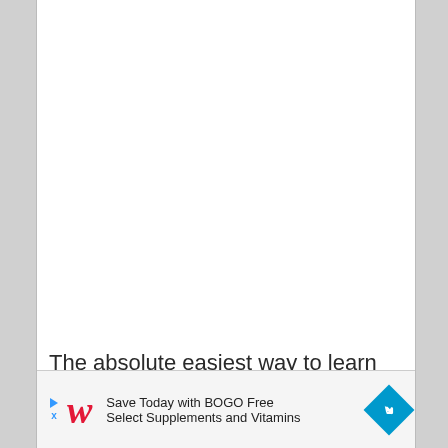[Figure (other): Large blank white area representing an image or content region above the text]
The absolute easiest way to learn the names of the different parts of the guitar is by looking
[Figure (other): Advertisement banner: Walgreens BOGO Free Save Today with BOGO Free Select Supplements and Vitamins]